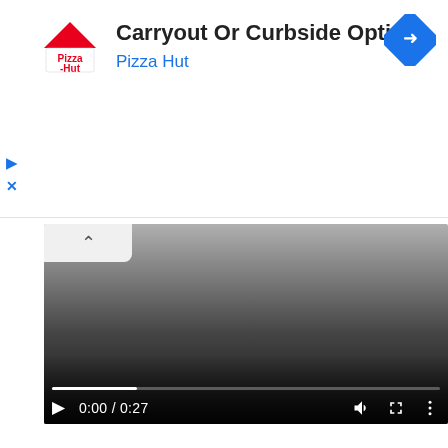[Figure (screenshot): Pizza Hut advertisement banner with logo, text 'Carryout Or Curbside Options', 'Pizza Hut', and a blue navigation diamond icon]
[Figure (screenshot): Video player showing a video at 0:00/0:27 with play button, progress bar, volume, fullscreen, and more options icons]
Download
Love Feel The Song Trending Whatsapp Status Download